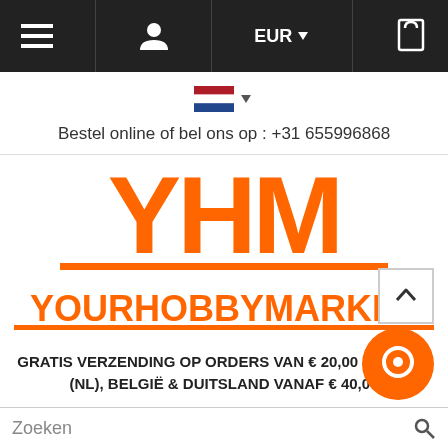Navigation bar with menu, user, EUR currency, and cart icons
[Figure (logo): Dutch flag icon with dropdown arrow]
Bestel online of bel ons op : +31 655996868
[Figure (logo): YHM YourHobbyMarket logo in orange]
GRATIS VERZENDING OP ORDERS VAN € 20,00 OF MEER (NL), BELGIË & DUITSLAND VANAF € 40,00
Zoeken